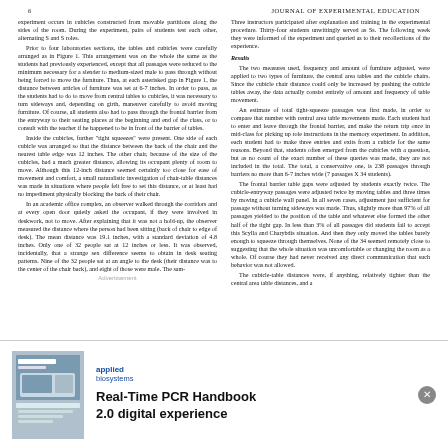6   JOURNAL OF EXPERIMENTAL EDUCATION
experiment occurs in cubicles constructed from movable partitions along the sides of the room. During the experiment, pairs of students test each other, alternating S and S roles.

Prior to four laboratories sections, the tables and cubicles were carefully arranged as in Figure 1. This arrangement was on the whole the same as the students had previously experienced, except that all passages were reduced to the minimum necessary for a slender to medium-sized male to pass through without being forced to move the furniture. Thus, at each asterisked gap in Figure 1, the distance between articles of furniture was set at 6-7 inches. In order to pass, as the students had to do to move from central tables to cubicles, it was necessary to turn sideways and, depending on girth, maneuver carefully to avoid moving furniture. Of course, all students also had to pass through the frontal barrier from the entryway to their seating places at the beginning and end of the class, or to consult with the teacher if he happened to be in front of the barrier of tables.

Inside the cubicles, further "tight squeezes" were present. One side of each cubicle was arranged so that the distance between the back of the chair and the nearest table edge was 12 inches. The other chair, because of the size of the cubicles, had a much greater distance, allowing its occupant plenty of room to move. Although this 12-inch distance seemed certainly too close for ease of movement and comfort, a small naturalistic investigation of chair-table distances was made in situations where people felt free to set this distance, or at least had no impediment physically blocking the back of their chair.

In an academic office complex, an observer walked through the corridors and at every open door quietly asked the occupant, if they were involved in deskwork, not to move. After explaining that it was not a hold-up, the observer measured the distance where the person had been sitting (back of chair to edge of desk). The mean distance was 19.1 inches, with a standard deviation of 4.8 inches. Only one of 32 people sat at 12 inches or less. It was observed, incidentally, that a strange sex difference seems to obtain in desk seating patterns. Nine of the 32 people sat at an angle to the desk (their distance was to the center of the chair back), and eight of those were male. The sam-
Three instructors participated after explanation and training in the experimental procedure. Thirty-four students unwittingly served as Ss. The following week they were informed of the experiment and queried as to their recollections of the experience.
Results
The two measures used, frequency and amount of furniture adjusted, were applied to two types of furniture, the central area tables and the cubicle chairs. Since the cubicle chair distance could only be increased by pushing the cubicle tables away, the data actually consist entirely of amount and frequency of table movement.

An estimate of total tight-squeeze passages was first made, in order to compare that number with central area table movements made. Each student had to enter and leave through the frontal barrier, and make the return trip once in mid-class for picking up role instructions in the memory experiment. In addition, each student had to make three entries and exits from a cubicle for the same reasons. Beyond that, students often emerged from the cubicles with a question, but as no count of the exact number of these queries was made, they are not included in the total. The total, a conservative one, is 238 passages through barriers no more than 6-7 inches wide (7 passages X 34 students).

The frontal barrier table gaps were adjusted by students exactly twice. The cubicle-entryway passages were adjusted twice by moving tables and three times by moving a cubicle wall panel. In all seven cases, adjustment just sufficient for passage without turning sideways was made. Thus, slightly more than 97% of all passages yielded to the position of the table and whatever else formed the other half of the tight gap. In less than 3% of all passages did students fail to accept this Scylla and Charybdis situation. And then they only moved the tables barely enough to squeeze through themselves. None of the 34 seemed remotely close to suggesting that the whole situation was uncomfortable or changing the room as a whole. Of course they had never received any direct communication that such behavior was not allowed.

The cubicle-table distances were, if anything, relatively tighter than the central area table distances, and a